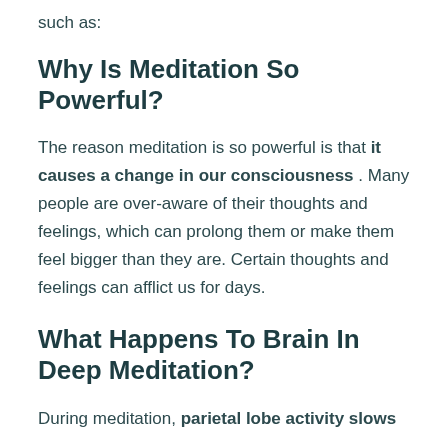such as:
Why Is Meditation So Powerful?
The reason meditation is so powerful is that it causes a change in our consciousness . Many people are over-aware of their thoughts and feelings, which can prolong them or make them feel bigger than they are. Certain thoughts and feelings can afflict us for days.
What Happens To Brain In Deep Meditation?
During meditation, parietal lobe activity slows